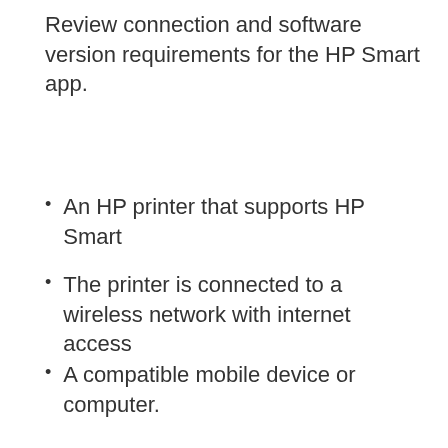Review connection and software version requirements for the HP Smart app.
An HP printer that supports HP Smart
The printer is connected to a wireless network with internet access
A compatible mobile device or computer.
Android 7.0 and later
Apple iOS 13 and later
Windows 10 version 1803 and later
For Windows 10 version 1709 or